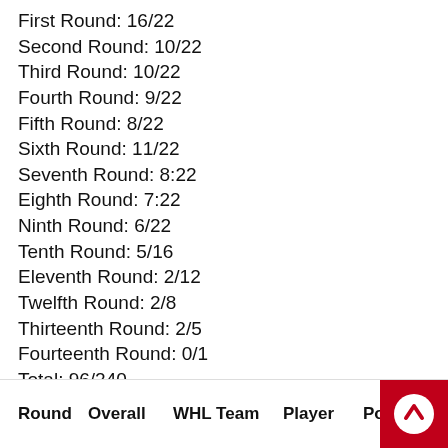First Round: 16/22
Second Round: 10/22
Third Round: 10/22
Fourth Round: 9/22
Fifth Round: 8/22
Sixth Round: 11/22
Seventh Round: 8:22
Eighth Round: 7:22
Ninth Round: 6/22
Tenth Round: 5/16
Eleventh Round: 2/12
Twelfth Round: 2/8
Thirteenth Round: 2/5
Fourteenth Round: 0/1
Total: 96/240
Round   Overall   WHL Team   Player   Position